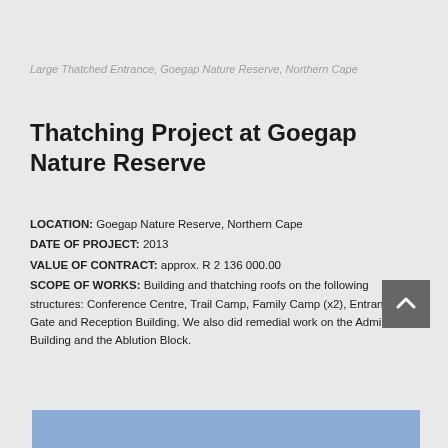Large Thatched Entrance, Goegap Nature Reserve, Northern Cape
Thatching Project at Goegap Nature Reserve
LOCATION: Goegap Nature Reserve, Northern Cape
DATE OF PROJECT: 2013
VALUE OF CONTRACT: approx. R 2 136 000.00
SCOPE OF WORKS: Building and thatching roofs on the following structures: Conference Centre, Trail Camp, Family Camp (x2), Entrance Gate and Reception Building. We also did remedial work on the Admin Building and the Ablution Block.
[Figure (photo): Blue/sky-colored bar at bottom of page, partial image of a thatched entrance]